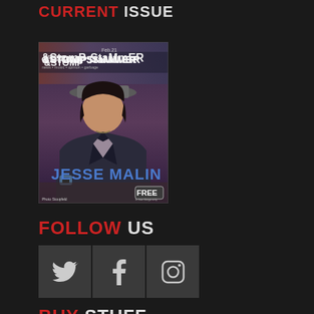CURRENT ISSUE
[Figure (photo): Magazine cover of Stomp and Stammer, Feb 21 issue, featuring Jesse Malin on the cover with a 'FREE' label and 'Photo by Peter Stoupfeld' credit]
FOLLOW US
[Figure (infographic): Three social media icon boxes: Twitter bird icon, Facebook 'f' icon, and Instagram camera icon, each in a dark grey square]
BUY STUFF